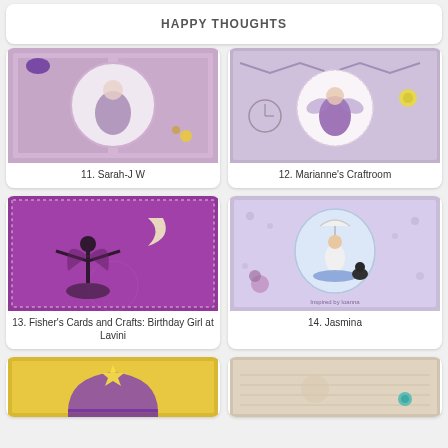HAPPY THOUGHTS
[Figure (photo): Handmade greeting card with purple fairy/girl with flowers in circular frame on checkered purple background]
11. Sarah-J W
[Figure (photo): Handmade card with purple fairy and floral doily frame on vintage background with yellow roses]
12. Marianne's Craftroom
[Figure (photo): Purple background card with silhouette fairy/dancer and crescent moon]
13. Fisher's Cards and Crafts: Birthday Girl at Lavini
[Figure (photo): Handmade card with girl holding umbrella and black cat in purple/lavender tones]
14. Jasmina
[Figure (photo): Handmade card with yellow and purple graduation/celebration theme]
[Figure (photo): Handmade vintage-style card with soft brown tones and teal embellishments]